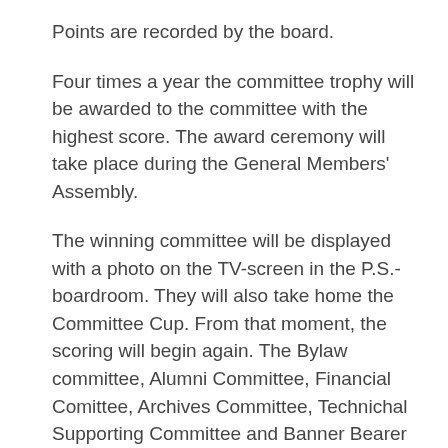Points are recorded by the board.
Four times a year the committee trophy will be awarded to the committee with the highest score. The award ceremony will take place during the General Members' Assembly.
The winning committee will be displayed with a photo on the TV-screen in the P.S.-boardroom. They will also take home the Committee Cup. From that moment, the scoring will begin again. The Bylaw committee, Alumni Committee, Financial Comittee, Archives Committee, Technichal Supporting Committee and Banner Bearer Committee are not allowed to participate in the competition.